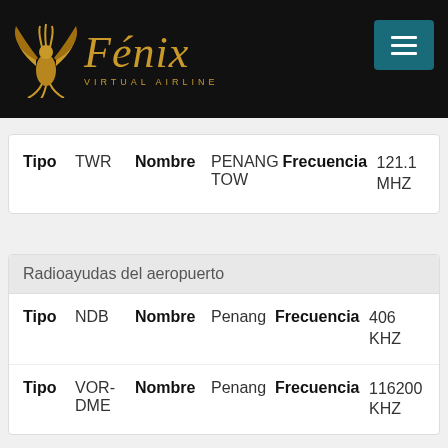[Figure (logo): Fénix Virtual Airline logo with golden phoenix bird and stylized italic text on black background]
| Tipo |  | Nombre |  | Frecuencia |  |
| --- | --- | --- | --- | --- | --- |
| TWR |  | PENANG TOW |  |  | 121.1 MHZ |
Radioayudas del aeropuerto
| Tipo |  | Nombre |  | Frecuencia |  |
| --- | --- | --- | --- | --- | --- |
| NDB |  | Penang |  |  | 406 KHZ |
| VOR-DME |  | Penang |  |  | 116200 KHZ |